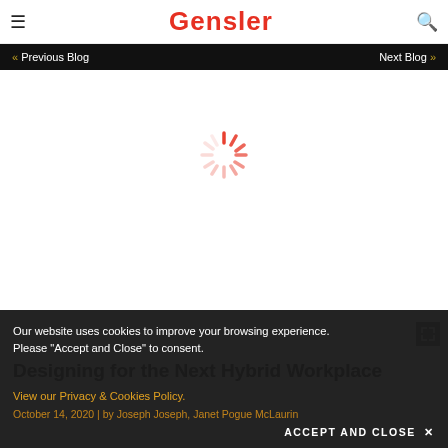Gensler
« Previous Blog    Next Blog »
[Figure (other): Loading spinner animation (red radial lines spinner) indicating image is loading]
Designing for the Next Hybrid Workplace
October 14, 2020 | by Joseph Joseph, Janet Pogue McLaurin
Our website uses cookies to improve your browsing experience. Please "Accept and Close" to consent. View our Privacy & Cookies Policy.
ACCEPT AND CLOSE ✕